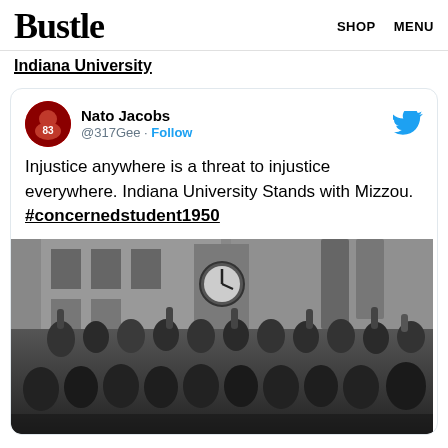Bustle  SHOP  MENU
Indiana University
[Figure (screenshot): Tweet by Nato Jacobs (@317Gee) with Follow button and Twitter bird icon. Tweet text: Injustice anywhere is a threat to injustice everywhere. Indiana University Stands with Mizzou. #concernedstudent1950. Below the text is a black and white photo of a large crowd of students gathered in front of a building with a clock tower, many raising fists.]
Injustice anywhere is a threat to injustice everywhere. Indiana University Stands with Mizzou. #concernedstudent1950